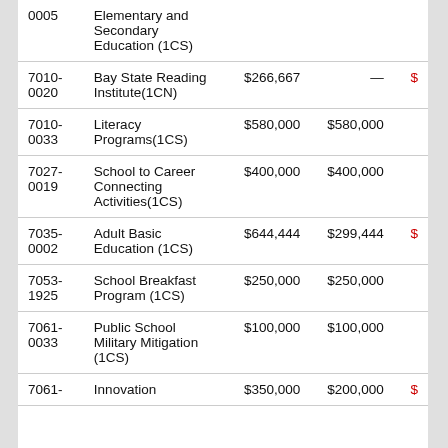| Code | Program Name | Amount 1 | Amount 2 | Amount 3 |
| --- | --- | --- | --- | --- |
| 0005 | Elementary and Secondary Education (1CS) |  |  |  |
| 7010-0020 | Bay State Reading Institute(1CN) | $266,667 | — | $ |
| 7010-0033 | Literacy Programs(1CS) | $580,000 | $580,000 |  |
| 7027-0019 | School to Career Connecting Activities(1CS) | $400,000 | $400,000 |  |
| 7035-0002 | Adult Basic Education (1CS) | $644,444 | $299,444 | $ |
| 7053-1925 | School Breakfast Program (1CS) | $250,000 | $250,000 |  |
| 7061-0033 | Public School Military Mitigation (1CS) | $100,000 | $100,000 |  |
| 7061- | Innovation | $350,000 | $200,000 | $ |